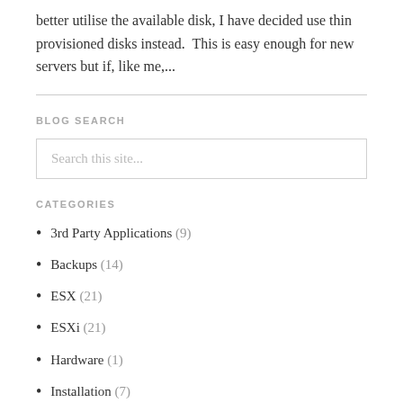better utilise the available disk, I have decided use thin provisioned disks instead.  This is easy enough for new servers but if, like me,...
BLOG SEARCH
Search this site...
CATEGORIES
3rd Party Applications (9)
Backups (14)
ESX (21)
ESXi (21)
Hardware (1)
Installation (7)
Maintenance (6)